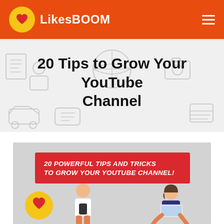LikesBOOM
20 Tips to Grow Your YouTube Channel
[Figure (infographic): Infographic banner reading '20 POWERFUL TIPS AND TRICKS TO GROW YOUR YOUTUBE CHANNEL!' in white bold italic text on red background, with illustrated figures of a man holding a phone, a woman using a laptop, and a yellow heart circle icon on a grey background.]